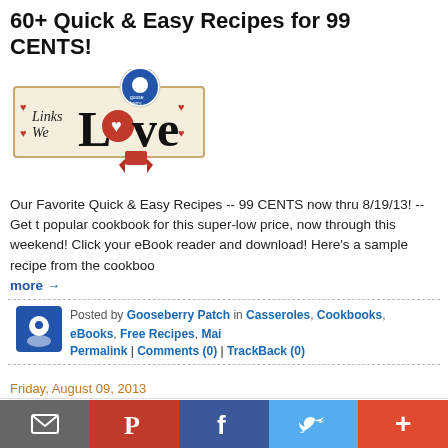60+ Quick & Easy Recipes for 99 CENTS!
[Figure (logo): Gooseberry Patch 'Links We Love' logo with heart and ribbon]
Our Favorite Quick & Easy Recipes -- 99 CENTS now thru 8/19/13! -- Get this popular cookbook for this super-low price, now through this weekend! Click your eBook reader and download! Here's a sample recipe from the cookbook... more →
Posted by Gooseberry Patch in Casseroles, Cookbooks, eBooks, Free Recipes, Mai... Permalink | Comments (0) | TrackBack (0)
Friday, August 09, 2013
25 FREE Barbecue Recipes!
[Figure (logo): Gooseberry Patch logo partially visible at bottom]